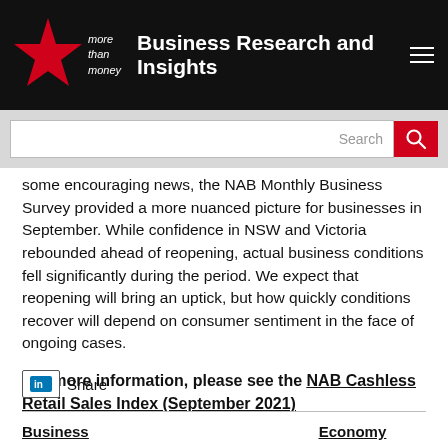Business Research and Insights
some encouraging news, the NAB Monthly Business Survey provided a more nuanced picture for businesses in September. While confidence in NSW and Victoria rebounded ahead of reopening, actual business conditions fell significantly during the period. We expect that reopening will bring an uptick, but how quickly conditions recover will depend on consumer sentiment in the face of ongoing cases.
For more information, please see the NAB Cashless Retail Sales Index (September 2021)
Share
Business | Economy